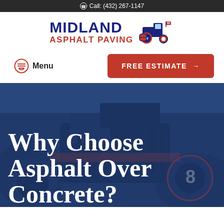Call: (432) 267-1147
[Figure (logo): Midland Asphalt Paving logo with tractor/paver icon in red, white and blue]
Menu
FREE ESTIMATE →
[Figure (photo): Background photo of asphalt paving machinery with blue overlay]
Why Choose Asphalt Over Concrete?